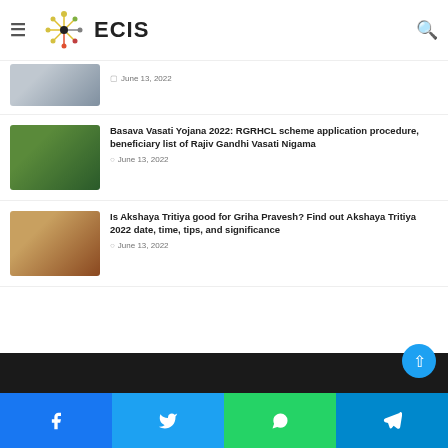ECIS
[Figure (screenshot): Partial article thumbnail showing a desk/writing surface]
June 13, 2022
Basava Vasati Yojana 2022: RGRHCL scheme application procedure, beneficiary list of Rajiv Gandhi Vasati Nigama
June 13, 2022
Is Akshaya Tritiya good for Griha Pravesh? Find out Akshaya Tritiya 2022 date, time, tips, and significance
June 13, 2022
Facebook Twitter WhatsApp Telegram